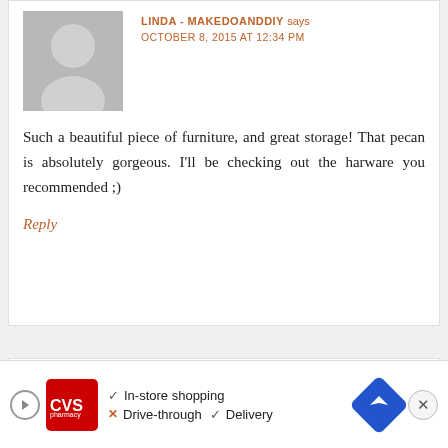[Figure (illustration): Gray avatar placeholder silhouette for user Linda - MakeDo&DIY]
LINDA - MAKEDOANDDIY says
OCTOBER 8, 2015 AT 12:34 PM
Such a beautiful piece of furniture, and great storage! That pecan is absolutely gorgeous. I'll be checking out the harware you recommended ;)
Reply
[Figure (illustration): Gray avatar placeholder silhouette for user laura m]
laura m says
OCTOBER 8, 2015 AT 7:14 PM
[Figure (screenshot): CVS pharmacy advertisement banner showing In-store shopping, Drive-through, Delivery options with map direction icon and close button]